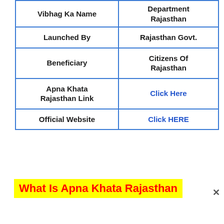| Vibhag Ka Name | Department Rajasthan |
| --- | --- |
| Launched By | Rajasthan Govt. |
| Beneficiary | Citizens Of Rajasthan |
| Apna Khata Rajasthan Link | Click Here |
| Official Website | Click HERE |
What Is Apna Khata Rajasthan